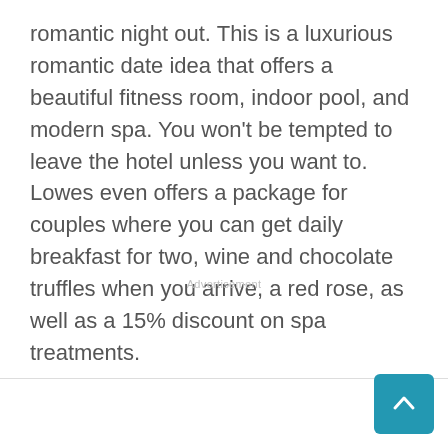romantic night out. This is a luxurious romantic date idea that offers a beautiful fitness room, indoor pool, and modern spa. You won't be tempted to leave the hotel unless you want to. Lowes even offers a package for couples where you can get daily breakfast for two, wine and chocolate truffles when you arrive, a red rose, as well as a 15% discount on spa treatments.
Advertisement